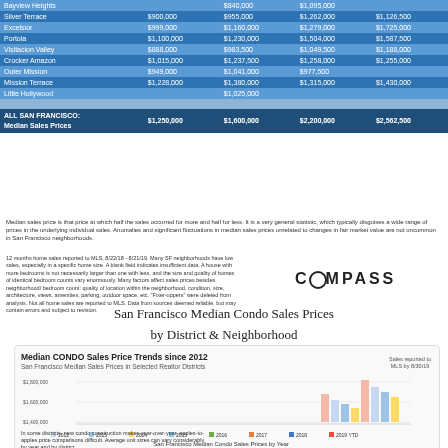| Neighborhood | 2BR | 3BR | 4BR | 5BR |
| --- | --- | --- | --- | --- |
| Bayview Heights |  | $840,000 | $1,095,000 |  |
| Silver Terrace | $900,000 | $955,000 | $1,262,000 | $1,126,500 |
| Excelsior | $999,000 | $1,160,000 | $1,279,000 | $1,725,000 |
| Portola | $1,100,000 | $1,230,000 | $1,504,000 | $1,587,500 |
| Visitacion Valley | $888,000 | $983,500 | $1,049,500 | $1,188,000 |
| Crocker Amazon | $1,015,000 | $1,237,500 | $1,258,000 | $1,255,000 |
| Outer Mission | $949,000 | $1,041,000 | $977,500 |  |
| Mission Terrace | $1,228,000 | $1,380,000 | $1,315,000 | $1,430,000 |
| Little Hollywood |  | $1,025,000 |  |  |
|  |  |  |  |  |
| ALL SAN FRANCISCO: Median Sales Prices | $1,250,000 | $1,600,000 | $2,200,000 | $2,562,500 |
Median sales price is that price at which half the sales occurred for more and half for less. It is a very general statistic, which typically disguises a wide range of prices in the underlying individual sales. Anomalies and significant fluctuations in median sales prices unrelated to changes in fair market value are not uncommon in San Francisco neighborhoods.
12 months home sales reported to MLS, 8/22/18 - 8/21/19. Many SF neighborhoods have low sales, especially in a specific home size. A blank field indicates insufficient data. A house with more bedrooms is not necessarily larger than one with less, and the size and quality of homes of identical bedroom counts vary enormously. Many factors affect sales prices besides neighborhood/bedroom count: quality of location within the neighborhood, condition, size, architecture, views, amenities, parking, outdoor space, etc. "Fixer-uppers" were deleted from analysis. Not all home sales are reported to MLS. Data from sources deemed reliable, but may contain errors and subject to revision.
[Figure (logo): COMPASS logo text]
San Francisco Median Condo Sales Prices
by District & Neighborhood
[Figure (grouped-bar-chart): San Francisco Median Condo Sales Prices by Year, grouped bar chart showing price trends from 2012 to 2019 YTD across selected Realtor Districts. Y-axis shows prices from ~$1,400,000 to $1,800,000. Sales reported to MLS by 8/30/19.]